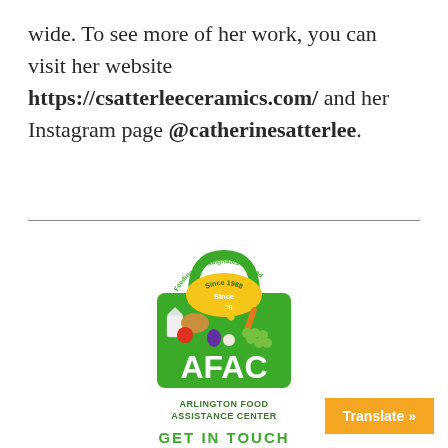wide. To see more of her work, you can visit her website https://csatterleeceramics.com/ and her Instagram page @catherinesatterlee.
[Figure (logo): AFAC Arlington Food Assistance Center logo — green shopping bag shape with food items and 'Since 1988' arc text reading 'Feeding Our Neighbors in Need', with large AFAC lettering and 'ARLINGTON FOOD ASSISTANCE CENTER' below]
GET IN TOUCH
Translate »